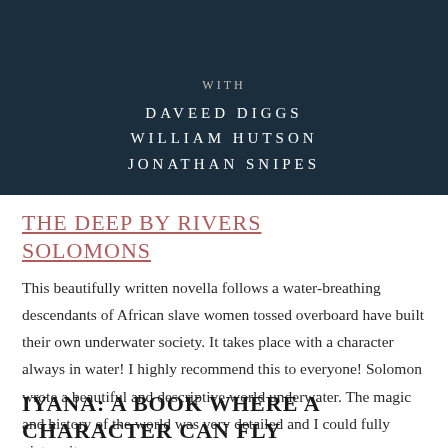[Figure (illustration): Dark blue-toned book cover background with text: WITH / DAVEED DIGGS / WILLIAM HUTSON / JONATHAN SNIPES in white uppercase serif letters on a dark teal/navy background]
THE DEEP BY RIVERS SOLOMONS
This beautifully written novella follows a water-breathing descendants of African slave women tossed overboard have built their own underwater society. It takes place with a character always in water! I highly recommend this to everyone! Solomon wrote a beautiful and descriptive world underwater. The magic and history of the world was very detailed and I could fully picture it.
IYANA: A BOOK WHERE A CHARACTER CAN FLY